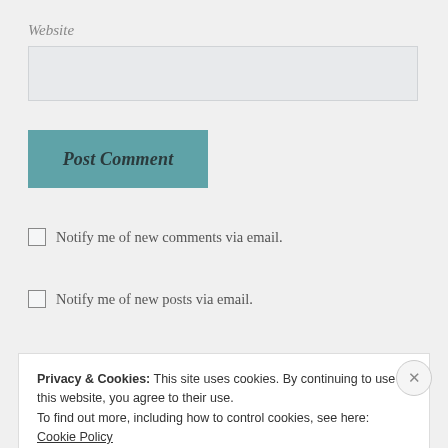Website
[Figure (screenshot): Empty text input field for Website]
[Figure (screenshot): Post Comment button (teal/green-blue color)]
Notify me of new comments via email.
Notify me of new posts via email.
Advertisements
Privacy & Cookies: This site uses cookies. By continuing to use this website, you agree to their use.
To find out more, including how to control cookies, see here: Cookie Policy
Close and accept